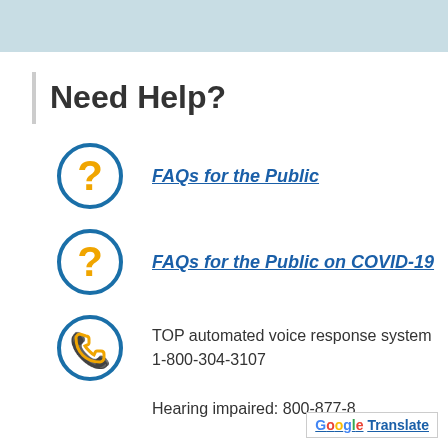Need Help?
FAQs for the Public
FAQs for the Public on COVID-19
TOP automated voice response system 1-800-304-3107
Hearing impaired: 800-877-8...
[Figure (other): Google Translate badge]